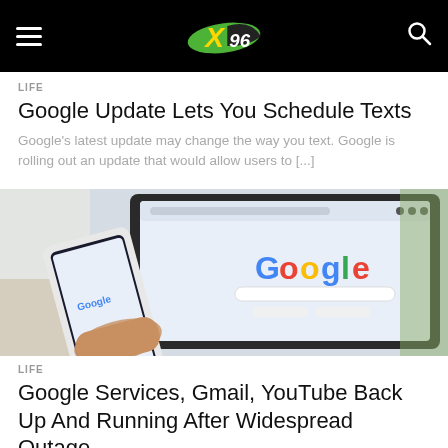X96 — hamburger menu, logo, search
LIFE
Google Update Lets You Schedule Texts
Google's latest update may change the way you text. Google is rolling out an update that would allow users to [...]
[Figure (photo): Person holding a smartphone in front of a laptop displaying the Google search homepage]
LIFE
Google Services, Gmail, YouTube Back Up And Running After Widespread Outage
Monday started off with thousands of Google users not being able to access their services. Meanwhile, Mastodon [...]